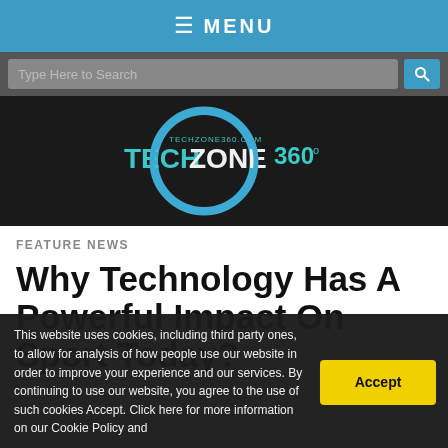≡ MENU
[Figure (screenshot): Search bar with 'Type Here to Search' placeholder and blue search button]
[Figure (logo): TechZone360 logo - blue circle with TECHZONE360 text in teal/green on dark background]
FEATURE NEWS
Why Technology Has A Powerful Impact On Sport Today?
This website uses cookies, including third party ones, to allow for analysis of how people use our website in order to improve your experience and our services. By continuing to use our website, you agree to the use of such cookies Accept. Click here for more information on our Cookie Policy and